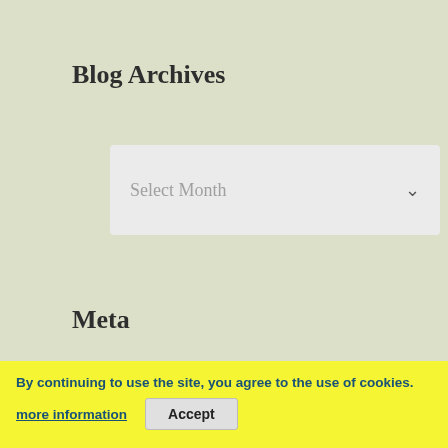Blog Archives
Select Month
Meta
Log in
Entries feed
Comments feed
WordPress
By continuing to use the site, you agree to the use of cookies. more information Accept